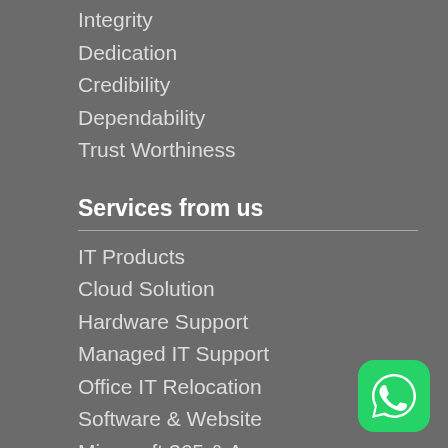Integrity
Dedication
Credibility
Dependability
Trust Worthiness
Services from us
IT Products
Cloud Solution
Hardware Support
Managed IT Support
Office IT Relocation
Software & Website
Microsoft 365 & Azure
Social Media